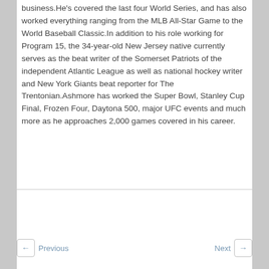business.He's covered the last four World Series, and has also worked everything ranging from the MLB All-Star Game to the World Baseball Classic.In addition to his role working for Program 15, the 34-year-old New Jersey native currently serves as the beat writer of the Somerset Patriots of the independent Atlantic League as well as national hockey writer and New York Giants beat reporter for The Trentonian.Ashmore has worked the Super Bowl, Stanley Cup Final, Frozen Four, Daytona 500, major UFC events and much more as he approaches 2,000 games covered in his career.
← Previous   Next →